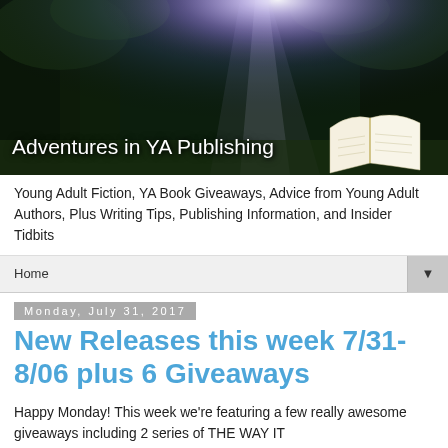[Figure (illustration): Website banner for 'Adventures in YA Publishing' showing a forest scene with dramatic light rays (purple/blue) shining through dark trees, with an open book in the lower right corner and the blog title text overlaid in white.]
Young Adult Fiction, YA Book Giveaways, Advice from Young Adult Authors, Plus Writing Tips, Publishing Information, and Insider Tidbits
Home ▼
Monday, July 31, 2017
New Releases this week 7/31-8/06 plus 6 Giveaways
Happy Monday! This week we're featuring a few really awesome giveaways including 2 series of THE WAY IT...